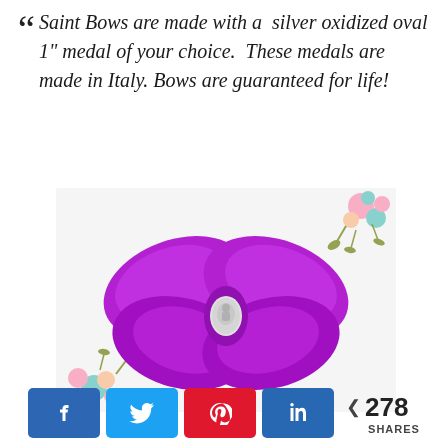“ Saint Bows are made with a silver oxidized oval 1" medal of your choice. These medals are made in Italy. Bows are guaranteed for life!
[Figure (photo): A large purple grosgrain ribbon bow with a silver oxidized oval medal in the center, displayed against a white background with illustrated floral decorations in the corners.]
< 278 SHARES (with Facebook, Twitter, Pinterest, LinkedIn share buttons)